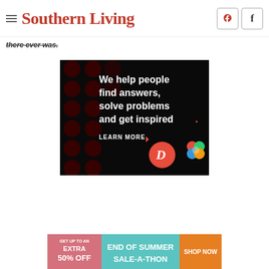Southern Living
there ever was.
[Figure (infographic): Dark advertisement with red dot pattern background. Text reads: 'We help people find answers, solve problems and get inspired.' with 'LEARN MORE' button and logos for Dotdash and About.com]
[Figure (infographic): Colorful sale banner: 'GET UP TO AN EXTRA 50% OFF - END OF SUMMER SALE-A-THON - SHOP NOW']